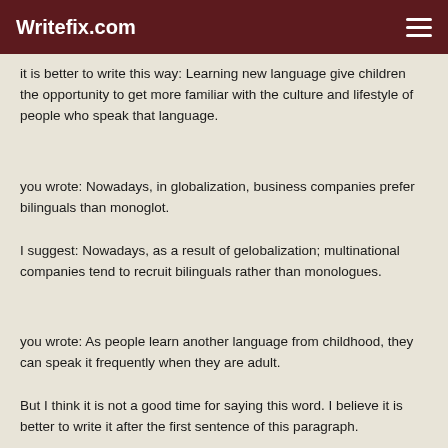Writefix.com
it is better to write this way: Learning new language give children the opportunity to get more familiar with the culture and lifestyle of people who speak that language.
you wrote: Nowadays, in globalization, business companies prefer bilinguals than monoglot.
I suggest: Nowadays, as a result of gelobalization; multinational companies tend to recruit bilinguals rather than monologues.
you wrote: As people learn another language from childhood, they can speak it frequently when they are adult.
But I think it is not a good time for saying this word. I believe it is better to write it after the first sentence of this paragraph.